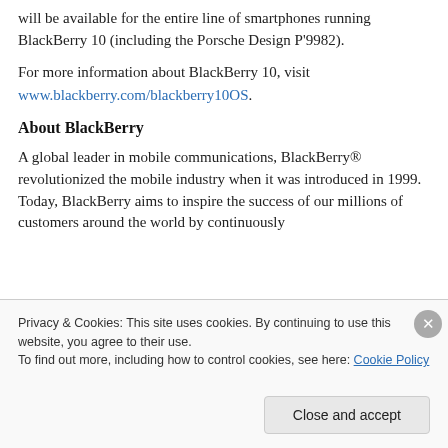will be available for the entire line of smartphones running BlackBerry 10 (including the Porsche Design P'9982).
For more information about BlackBerry 10, visit www.blackberry.com/blackberry10OS.
About BlackBerry
A global leader in mobile communications, BlackBerry® revolutionized the mobile industry when it was introduced in 1999. Today, BlackBerry aims to inspire the success of our millions of customers around the world by continuously
Privacy & Cookies: This site uses cookies. By continuing to use this website, you agree to their use. To find out more, including how to control cookies, see here: Cookie Policy
Close and accept